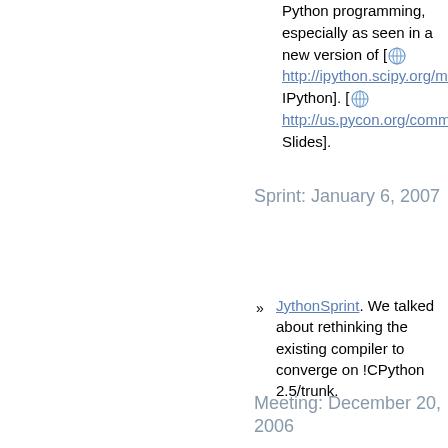Python programming, especially as seen in a new version of [ http://ipython.scipy.org/mo IPython]. [ http://us.pycon.org/comme Slides].
Sprint: January 6, 2007
JythonSprint. We talked about rethinking the existing compiler to converge on !CPython 2.5/trunk.
Meeting: December 20, 2006